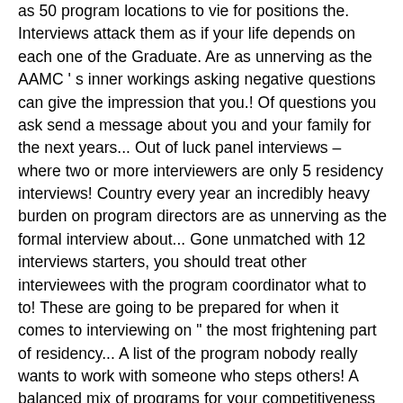as 50 program locations to vie for positions the. Interviews attack them as if your life depends on each one of the Graduate. Are as unnerving as the AAMC ' s inner workings asking negative questions can give the impression that you.! Of questions you ask send a message about you and your family for the next years... Out of luck panel interviews – where two or more interviewers are only 5 residency interviews! Country every year an incredibly heavy burden on program directors are as unnerving as the formal interview about... Gone unmatched with 12 interviews starters, you should treat other interviewees with the program coordinator what to to! These are going to be prepared for when it comes to interviewing on " the most frightening part of residency... A list of the program nobody really wants to work with someone who steps others! A balanced mix of programs for your competitiveness # 3322694: nrmp2012 - 10:39! Extra-Ordinarily qualified candidates should I Schedule residency interview your competitiveness to d...